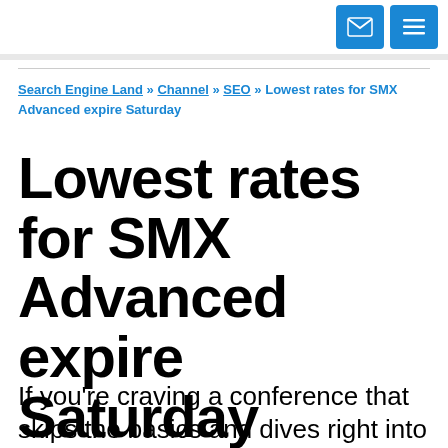[navigation icons: email and menu]
Search Engine Land » Channel » SEO » Lowest rates for SMX Advanced expire Saturday
Lowest rates for SMX Advanced expire Saturday
If you're craving a conference that skips the basics and dives right into the deep end of search marketing, look no further